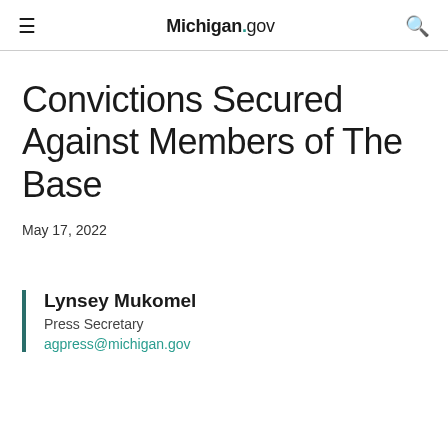Michigan.gov
Convictions Secured Against Members of The Base
May 17, 2022
Lynsey Mukomel
Press Secretary
agpress@michigan.gov